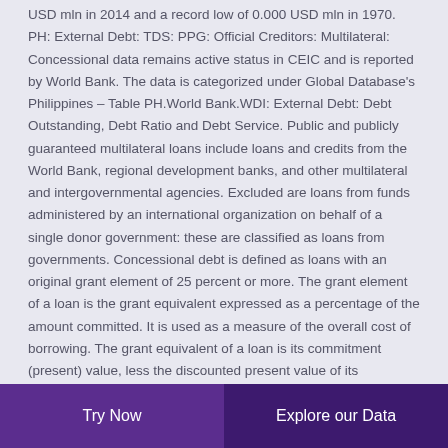USD mln in 2014 and a record low of 0.000 USD mln in 1970. PH: External Debt: TDS: PPG: Official Creditors: Multilateral: Concessional data remains active status in CEIC and is reported by World Bank. The data is categorized under Global Database's Philippines – Table PH.World Bank.WDI: External Debt: Debt Outstanding, Debt Ratio and Debt Service. Public and publicly guaranteed multilateral loans include loans and credits from the World Bank, regional development banks, and other multilateral and intergovernmental agencies. Excluded are loans from funds administered by an international organization on behalf of a single donor government: these are classified as loans from governments. Concessional debt is defined as loans with an original grant element of 25 percent or more. The grant element of a loan is the grant equivalent expressed as a percentage of the amount committed. It is used as a measure of the overall cost of borrowing. The grant equivalent of a loan is its commitment (present) value, less the discounted present value of its contractual debt service; conventionally, future service payments are discounted at 10 percent. Debt service
Try Now
Explore our Data